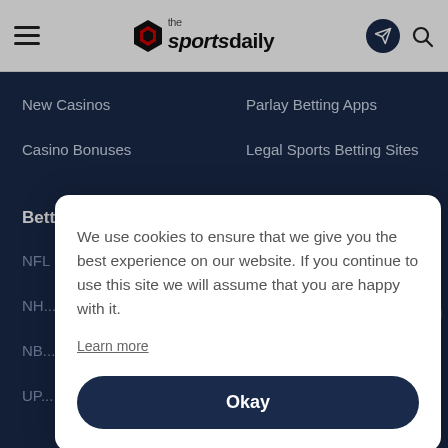the sportsdaily
New Casinos
Parlay Betting Apps
Casino Bonuses
Legal Sports Betting Sites
Betting Guides
Promo Codes
We use cookies to ensure that we give you the best experience on our website. If you continue to use this site we will assume that you are happy with it.
Learn more
Okay